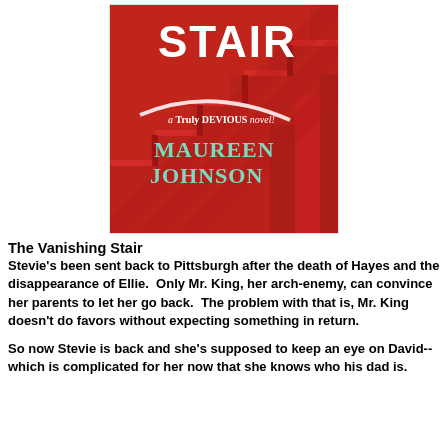[Figure (illustration): Book cover of 'The Vanishing Stair' — a Truly Devious novel by Maureen Johnson. Red staircase background with large white lettering 'STAIR' at top, subtitle 'a Truly DEVIOUS novel!' in white script, and author name 'MAUREEN JOHNSON' in teal/mint hand-lettered style.]
The Vanishing Stair
Stevie's been sent back to Pittsburgh after the death of Hayes and the disappearance of Ellie.  Only Mr. King, her arch-enemy, can convince her parents to let her go back.  The problem with that is, Mr. King doesn't do favors without expecting something in return.
So now Stevie is back and she's supposed to keep an eye on David-- which is complicated for her now that she knows who his dad is.